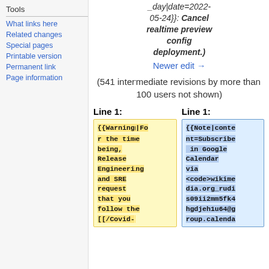Tools
What links here
Related changes
Special pages
Printable version
Permanent link
Page information
_day|date=2022-05-24}}: Cancel realtime preview config deployment.)
Newer edit →
(541 intermediate revisions by more than 100 users not shown)
Line 1:
Line 1:
{{Warning|For the time being, Release Engineering and SRE request that you follow the [[/Covid-
{{Note|content=Subscribe in Google Calendar via <code>wikimedia.org_rudis09ii2mm5fk4hgdjeh1u64@group.calenda